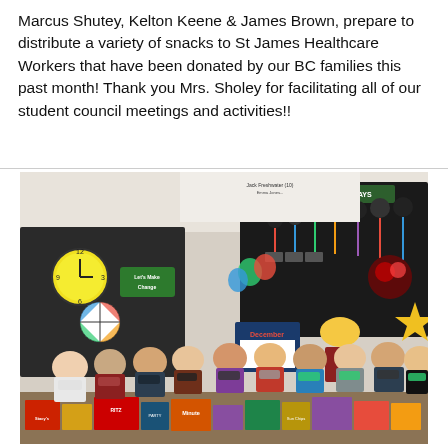Marcus Shutey, Kelton Keene & James Brown, prepare to distribute a variety of snacks to St James Healthcare Workers that have been donated by our BC families this past month! Thank you Mrs. Sholey for facilitating all of our student council meetings and activities!!
[Figure (photo): A classroom photo showing a teacher and approximately 20–25 elementary school students wearing face masks, standing in front of a classroom with birthday displays, a clock, and colorful decorations on the walls. In the foreground are boxes and packages of donated snacks (Ritz, Minute rice, and other food items).]